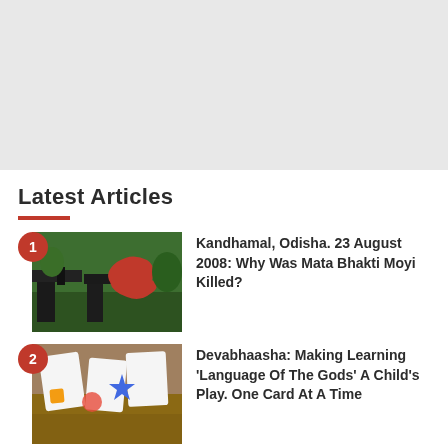[Figure (other): Gray banner/advertisement placeholder area at top of page]
Latest Articles
1. Kandhamal, Odisha. 23 August 2008: Why Was Mata Bhakti Moyi Killed?
2. Devabhaasha: Making Learning 'Language Of The Gods' A Child's Play. One Card At A Time